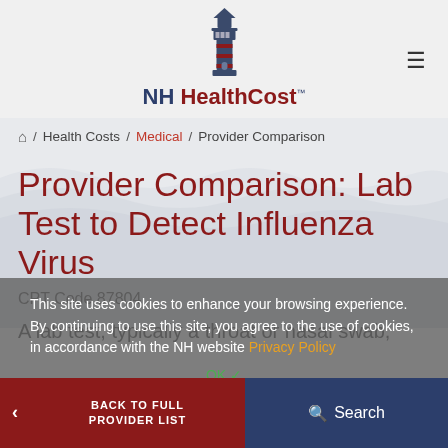NH HealthCost
⌂ / Health Costs / Medical / Provider Comparison
Provider Comparison: Lab Test to Detect Influenza Virus
CPT Code 87804
A lab test, typically a throat or nasal swab,
This site uses cookies to enhance your browsing experience. By continuing to use this site, you agree to the use of cookies, in accordance with the NH website Privacy Policy
BACK TO FULL PROVIDER LIST   Search